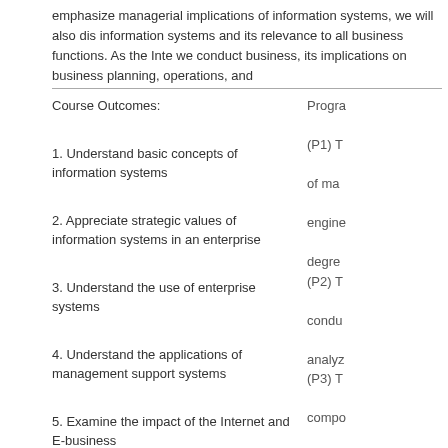emphasize managerial implications of information systems, we will also dis information systems and its relevance to all business functions. As the Inte we conduct business, its implications on business planning, operations, and
Course Outcomes:
1. Understand basic concepts of information systems
2. Appreciate strategic values of information systems in an enterprise
3. Understand the use of enterprise systems
4. Understand the applications of management support systems
5. Examine the impact of the Internet and E-business
6. Understand software development process
Progra (P1) T of ma engine degre (P2) T condu analyz (P3) T compo desire constr enviro ethica manu